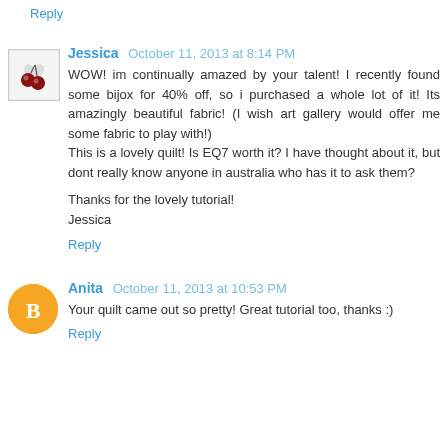Reply
Jessica  October 11, 2013 at 8:14 PM
WOW! im continually amazed by your talent! I recently found some bijox for 40% off, so i purchased a whole lot of it! Its amazingly beautiful fabric! (I wish art gallery would offer me some fabric to play with!)
This is a lovely quilt! Is EQ7 worth it? I have thought about it, but dont really know anyone in australia who has it to ask them?

Thanks for the lovely tutorial!
Jessica
Reply
Anita  October 11, 2013 at 10:53 PM
Your quilt came out so pretty! Great tutorial too, thanks :)
Reply